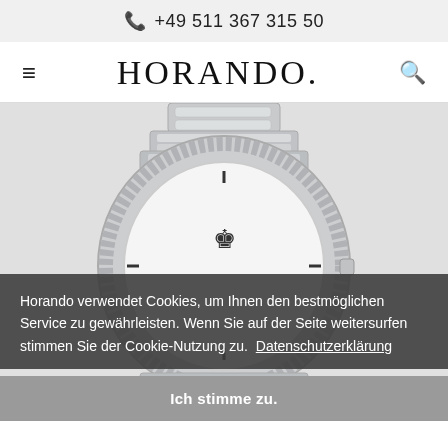+49 511 367 315 50
HORANDO.
[Figure (photo): Close-up of a Rolex watch with silver/white dial, fluted bezel, and Oyster bracelet on a white background]
Horando verwendet Cookies, um Ihnen den bestmöglichen Service zu gewährleisten. Wenn Sie auf der Seite weitersurfen stimmen Sie der Cookie-Nutzung zu. Datenschutzerklärung
Ich stimme zu.